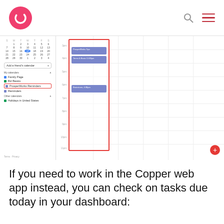Copper logo and navigation icons
[Figure (screenshot): Google Calendar screenshot showing a weekly view with a calendar sidebar on the left listing calendars including 'Family Page', 'Biz Basics', 'ProsperWorks Reminders' (highlighted in red box), and 'Reminders'. The calendar main area shows a highlighted column with events: 'ProsperWorks Tips', 'Terms & Basis 11:30pm', and 'Brainstorm, 4:30pm'. A red floating action button appears in the bottom right.]
If you need to work in the Copper web app instead, you can check on tasks due today in your dashboard: